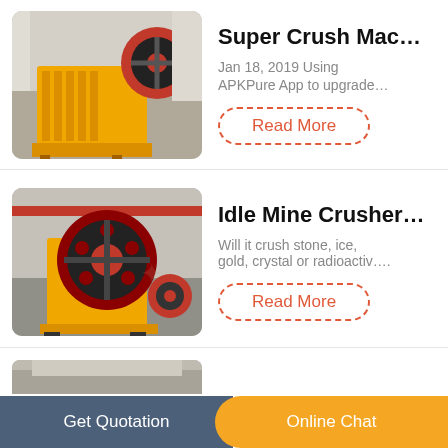[Figure (photo): Yellow jaw crusher machine in industrial warehouse setting]
Super Crush Mac…
Jan 18, 2019 Using APKPure App to upgrade…
Read More
[Figure (photo): Yellow jaw crusher machine front view in industrial setting]
Idle Mine Crusher…
Will it crush stone, ice, gold, crystal or radioactiv….
Read More
[Figure (photo): Partial view of industrial machinery]
Get Quotation   Online Chat